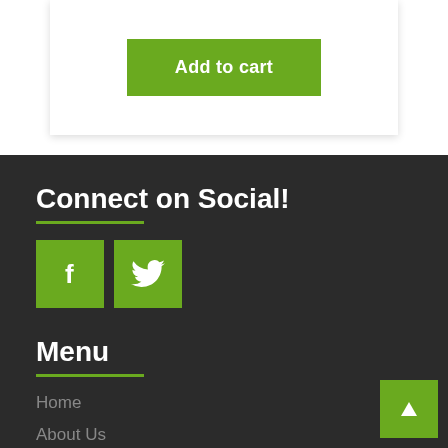Add to cart
Connect on Social!
[Figure (other): Facebook icon (letter f) in green square]
[Figure (other): Twitter bird icon in green square]
Menu
Home
About Us